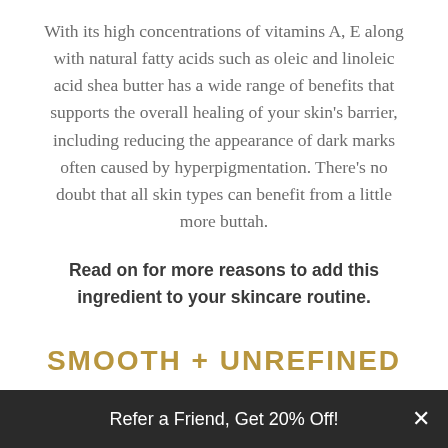With its high concentrations of vitamins A, E along with natural fatty acids such as oleic and linoleic acid shea butter has a wide range of benefits that supports the overall healing of your skin's barrier, including reducing the appearance of dark marks often caused by hyperpigmentation. There's no doubt that all skin types can benefit from a little more buttah.
Read on for more reasons to add this ingredient to your skincare routine.
SMOOTH + UNREFINED
[Figure (illustration): Partial view of a decorative icon/illustration at the bottom of the section, partially cropped]
Refer a Friend, Get 20% Off!